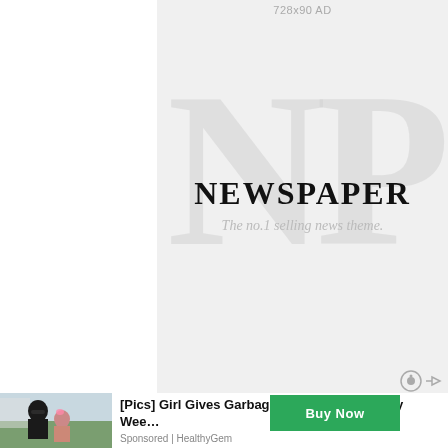728x90 AD
[Figure (screenshot): Newspaper theme demo ad block with large NP watermark, NEWSPAPER title text, and subtitle 'The no.1 selling news theme.' on a light gray background]
[Figure (screenshot): Green Buy Now button]
[Figure (photo): Photo of a man and young girl outdoors]
[Pics] Girl Gives Garbage Man Cupcake Every Wee…
Sponsored | HealthyGem